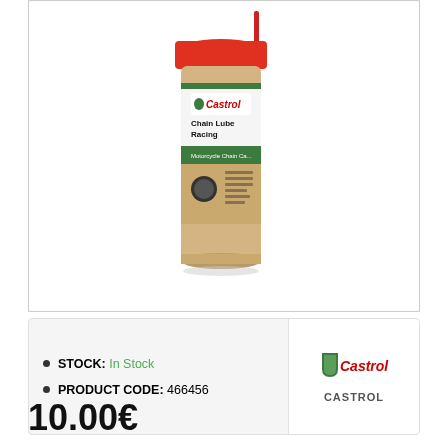[Figure (photo): Castrol Chain Lube Racing aerosol spray can with red cap and green/white label, motorcycle chain care product]
STOCK: In Stock
PRODUCT CODE: 466456
[Figure (logo): Castrol logo with green shield and red italic Castrol text]
CASTROL
10.00€